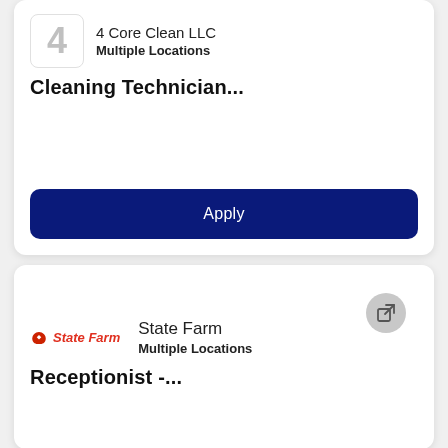4
4 Core Clean LLC
Multiple Locations
Cleaning Technician...
Apply
State Farm
Multiple Locations
Receptionist -...